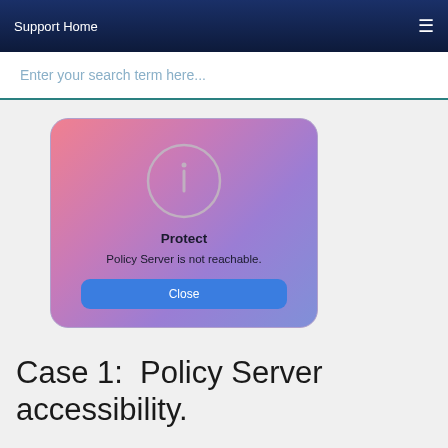Support Home
Enter your search term here...
[Figure (screenshot): A mobile dialog box with gradient background (pink to purple to blue) showing an info icon circle, bold title 'Protect', message 'Policy Server is not reachable.', and a blue 'Close' button.]
Case 1:  Policy Server accessibility.